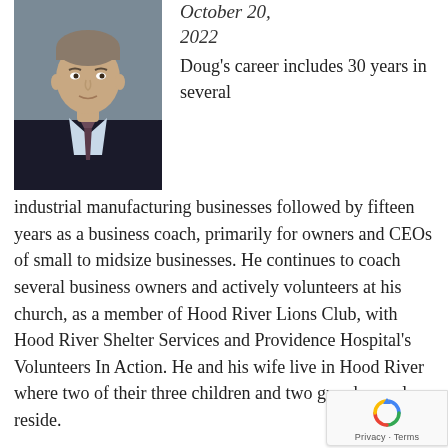[Figure (photo): Professional headshot of a man in a dark suit and tie against a grey background]
October 20, 2022
Doug's career includes 30 years in several industrial manufacturing businesses followed by fifteen years as a business coach, primarily for owners and CEOs of small to midsize businesses. He continues to coach several business owners and actively volunteers at his church, as a member of Hood River Lions Club, with Hood River Shelter Services and Providence Hospital's Volunteers In Action. He and his wife live in Hood River where two of their three children and two grandsons also reside.